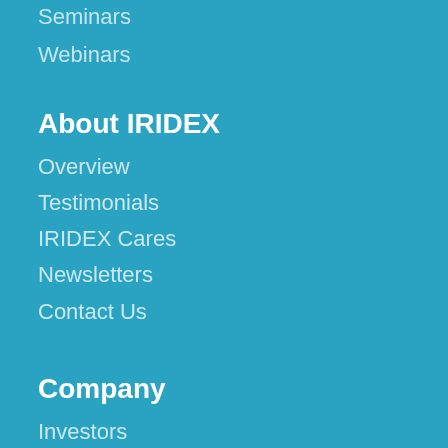Seminars
Webinars
About IRIDEX
Overview
Testimonials
IRIDEX Cares
Newsletters
Contact Us
Company
Investors
Distributors
Careers
News
Events